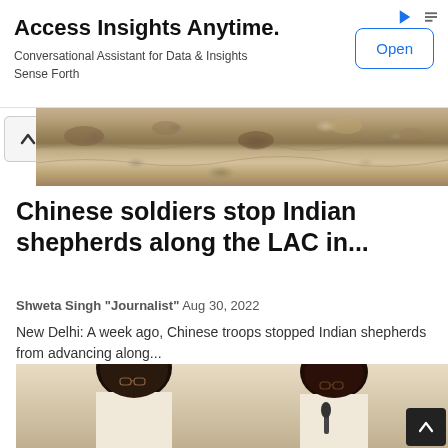[Figure (infographic): Advertisement banner: 'Access Insights Anytime. Conversational Assistant for Data & Insights Sense Forth' with an Open button]
Access Insights Anytime.
Conversational Assistant for Data & Insights
Sense Forth
[Figure (photo): Rocky/gravel landscape terrain photo (top portion visible)]
Chinese soldiers stop Indian shepherds along the LAC in...
Shweta Singh "Journalist"   Aug 30, 2022
New Delhi: A week ago, Chinese troops stopped Indian shepherds from advancing along...
[Figure (photo): Two people visible: a dark-skinned man in white kurta on the left smiling, and a woman with glasses (Mamata Banerjee) speaking into a microphone on the right]